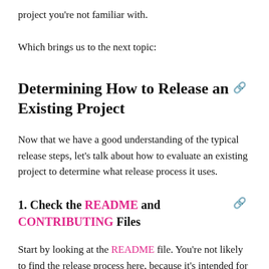project you’re not familiar with.
Which brings us to the next topic:
Determining How to Release an Existing Project
Now that we have a good understanding of the typical release steps, let’s talk about how to evaluate an existing project to determine what release process it uses.
1. Check the README and CONTRIBUTING Files
Start by looking at the README file. You’re not likely to find the release process here, because it’s intended for users, not contributors. However, there may be a link to